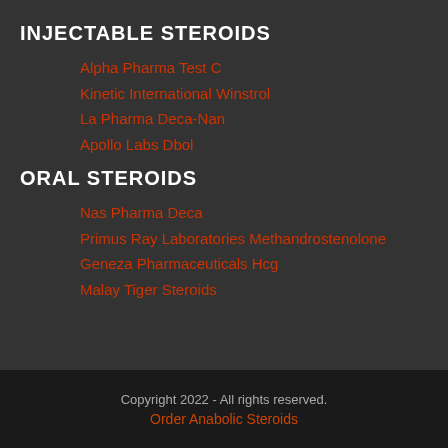INJECTABLE STEROIDS
Alpha Pharma Test C
Kinetic International Winstrol
La Pharma Deca-Nan
Apollo Labs Dbol
ORAL STEROIDS
Nas Pharma Deca
Primus Ray Laboratories Methandrostenolone
Geneza Pharmaceuticals Hcg
Malay Tiger Steroids
Copyright 2022 - All rights reserved.
Order Anabolic Steroids